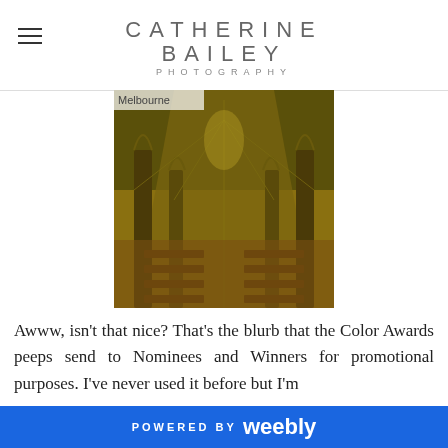CATHERINE BAILEY PHOTOGRAPHY
[Figure (photo): Interior of a Gothic cathedral showing long nave with ribbed vaulting, stone columns, wooden pews, and warm golden lighting. Text overlay reads 'Melbourne'.]
Awww, isn't that nice? That's the blurb that the Color Awards peeps send to Nominees and Winners for promotional purposes. I've never used it before but I'm
POWERED BY weebly